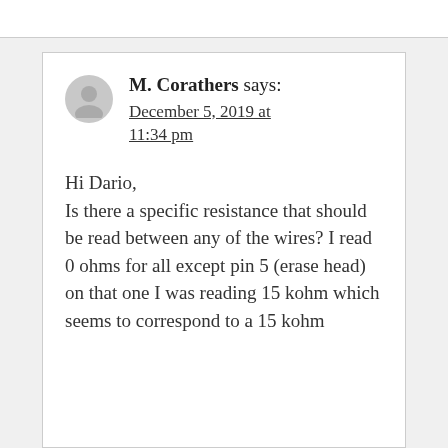M. Corathers says: December 5, 2019 at 11:34 pm
Hi Dario, Is there a specific resistance that should be read between any of the wires? I read 0 ohms for all except pin 5 (erase head) on that one I was reading 15 kohm which seems to correspond to a 15 kohm